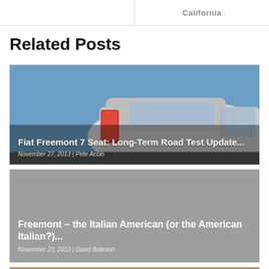California
Related Posts
[Figure (photo): White Fiat Freemont SUV rear quarter view, tail light visible, against a blue sky]
Fiat Freemont 7 Seat: Long-Term Road Test Update...
November 27, 2013 | Pete Accin
[Figure (photo): Gray/neutral background card for Freemont article]
Freemont – the Italian American (or the American Italian?)...
November 23, 2013 | David Bateson
[Figure (photo): Red Fiat 500x in motion blur on a street]